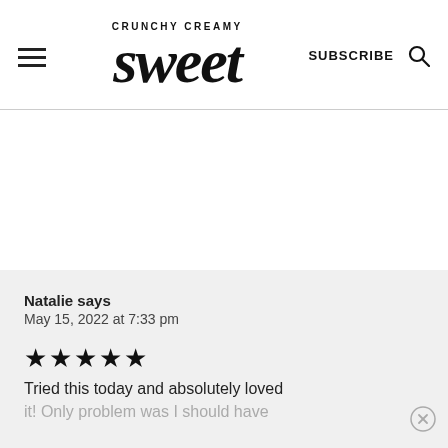CRUNCHY CREAMY Sweet | SUBSCRIBE
Natalie says
May 15, 2022 at 7:33 pm
★★★★★
Tried this today and absolutely loved it! Only problem was I should have